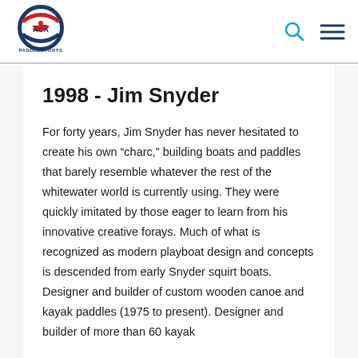[Figure (logo): ACA Paddlesports logo — circular emblem with red kayaker silhouette, blue and red arc design, text 'ACA' in white on dark blue, 'PADDLESPORTS' below in dark blue]
ACA Paddlesports header with search icon and hamburger menu icon
1998 - Jim Snyder
For forty years, Jim Snyder has never hesitated to create his own “charc,” building boats and paddles that barely resemble whatever the rest of the whitewater world is currently using. They were quickly imitated by those eager to learn from his innovative creative forays. Much of what is recognized as modern playboat design and concepts is descended from early Snyder squirt boats. Designer and builder of custom wooden canoe and kayak paddles (1975 to present). Designer and builder of more than 60 kayak